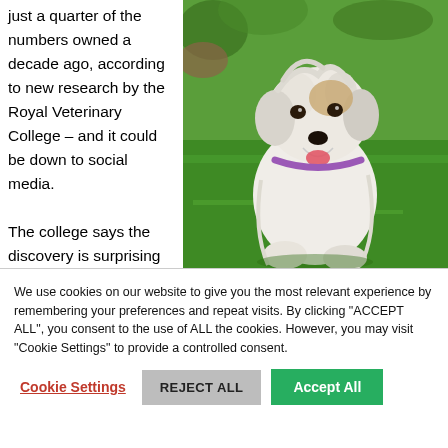just a quarter of the numbers owned a decade ago, according to new research by the Royal Veterinary College – and it could be down to social media.

The college says the discovery is surprising
[Figure (photo): A white fluffy small dog (appears to be a Maltese or similar breed) sitting on green grass, mouth open, wearing a purple collar, photographed in bright sunlight.]
We use cookies on our website to give you the most relevant experience by remembering your preferences and repeat visits. By clicking "ACCEPT ALL", you consent to the use of ALL the cookies. However, you may visit "Cookie Settings" to provide a controlled consent.
Cookie Settings | REJECT ALL | Accept All